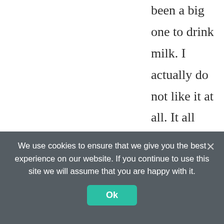been a big one to drink milk. I actually do not like it at all. It all comes form when my mother used to force me tod rink the coffee with milk. And it was hot milk. So you guess the skin formed on top and I absolutely made me gag every time I had to drink that.
We use cookies to ensure that we give you the best experience on our website. If you continue to use this site we will assume that you are happy with it.